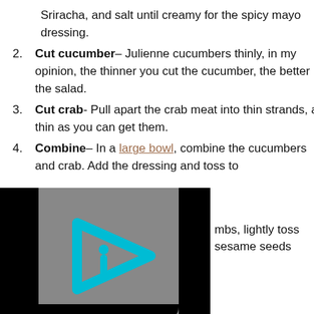Sriracha, and salt until creamy for the spicy mayo dressing.
Cut cucumber– Julienne cucumbers thinly, in my opinion, the thinner you cut the cucumber, the better the salad.
Cut crab- Pull apart the crab meat into thin strands, as thin as you can get them.
Combine– In a large bowl, combine the cucumbers and crab. Add the dressing and toss to coat. Top with panko crumbs, lightly toss again. Garnish with sesame seeds
[Figure (other): Video player thumbnail with gray background, black bars on left and right sides, and a cyan/teal play button icon in the center (triangle with letter i inside)]